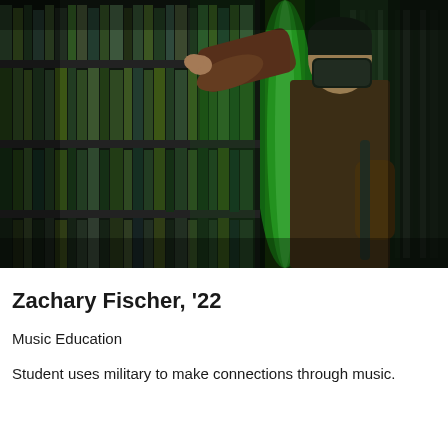[Figure (photo): A masked student wearing a brown shirt reaches for a book on a library shelf illuminated with green lighting, viewed from the side in a dimly lit library aisle.]
Zachary Fischer, '22
Music Education
Student uses military to make connections through music.